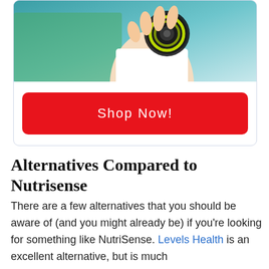[Figure (photo): Person holding a circular CGM sensor device with green rings, photo cropped to show arm/hand against a teal/blue background]
Shop Now!
Alternatives Compared to Nutrisense
There are a few alternatives that you should be aware of (and you might already be) if you're looking for something like NutriSense. Levels Health is an excellent alternative, but is much